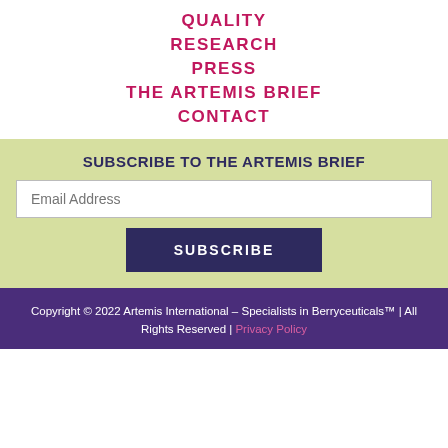QUALITY
RESEARCH
PRESS
THE ARTEMIS BRIEF
CONTACT
SUBSCRIBE TO THE ARTEMIS BRIEF
Email Address
SUBSCRIBE
Copyright © 2022 Artemis International – Specialists in Berryceuticals™ | All Rights Reserved | Privacy Policy